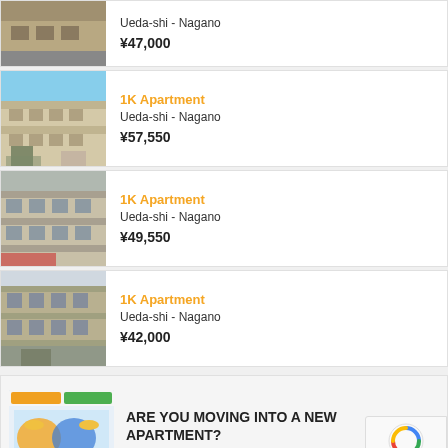[Figure (photo): Partial top listing card showing apartment building photo]
Ueda-shi - Nagano
¥47,000
[Figure (photo): Apartment building exterior photo, blue sky background]
1K Apartment
Ueda-shi - Nagano
¥57,550
[Figure (photo): Apartment building exterior photo]
1K Apartment
Ueda-shi - Nagano
¥49,550
[Figure (photo): Apartment building exterior photo, grey/beige building]
1K Apartment
Ueda-shi - Nagano
¥42,000
[Figure (photo): Advertisement banner with people and energy provider branding]
ARE YOU MOVING INTO A NEW APARTMENT?